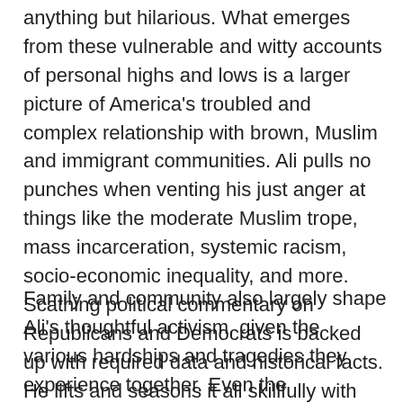anything but hilarious. What emerges from these vulnerable and witty accounts of personal highs and lows is a larger picture of America's troubled and complex relationship with brown, Muslim and immigrant communities. Ali pulls no punches when venting his just anger at things like the moderate Muslim trope, mass incarceration, systemic racism, socio-economic inequality, and more. Scathing political commentary on Republicans and Democrats is backed up with required data and historical facts. He lifts and seasons it all skillfully with comedy, popular cultural references from the United States and Pakistan, and a deeply warm affection for the family and friends who have always been there for him.
Family and community also largely shape Ali's thoughtful activism, given the various hardships and tragedies they experience together. Even the aforementioned play that launched Ali's writing career is about a Pakistani-American family vehemently discussing and trying to come to terms with post-9/11 American politics, racial and religious discrimination, classism, conflict intergenerational relationships, sibling rivalry and a sense of belonging. Ali recounts